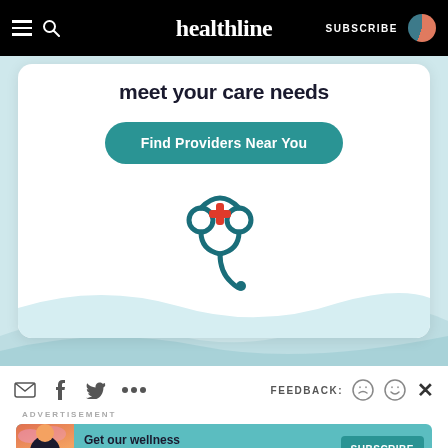healthline | SUBSCRIBE
[Figure (illustration): Healthline card with 'meet your care needs' text, 'Find Providers Near You' teal button, and a stethoscope with red cross illustration on a light blue background]
meet your care needs
Find Providers Near You
FEEDBACK:
ADVERTISEMENT
[Figure (infographic): Bottom advertisement banner for 'Get our wellness newsletter.' with SUBSCRIBE button in teal]